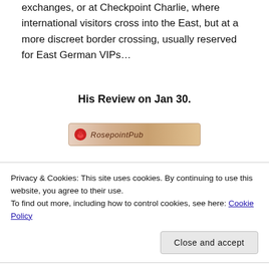exchanges, or at Checkpoint Charlie, where international visitors cross into the East, but at a more discreet border crossing, usually reserved for East German VIPs…
His Review on Jan 30.
[Figure (logo): RosepointPub logo banner with red rose icon and stylized text]
How many books will you review that also have a release date of...
Privacy & Cookies: This site uses cookies. By continuing to use this website, you agree to their use.
To find out more, including how to control cookies, see here: Cookie Policy
Close and accept
Cheers!!